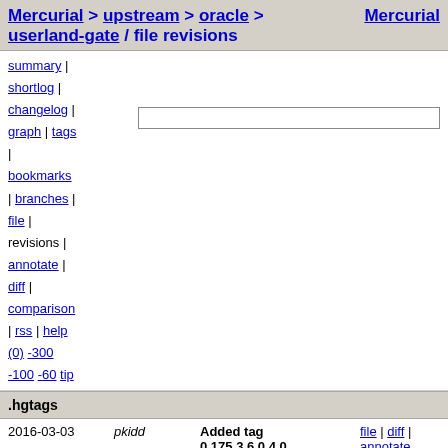Mercurial > upstream > oracle > userland-gate / file revisions  Mercurial
summary | shortlog | changelog | graph | tags | bookmarks | branches | file | revisions | annotate | diff | comparison | rss | help (0) -300 -100 -60 tip
.hgtags
| Date | Author | Description | Links |
| --- | --- | --- | --- |
| 2016-03-03 | pkidd | Added tag 0.175.3.6.0.4.0, S11.3SRU6.4 for changeset 96a9d1689496 [s11u3-sru] | file | diff | annotate |
| 2016-02-29 | pkidd | Added tag 0.175.3.6.0.3.0, S11.3SRU6.3 for changeset aa9d55595230 [s11u3-sru] | file | diff | annotate |
| 2016-02-26 | Mike Sullivan | Added tag s12-94 for changeset f028b67aa15b | file | diff | annotate |